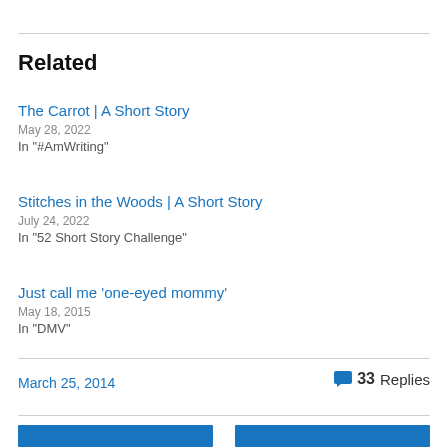Related
The Carrot | A Short Story
May 28, 2022
In "#AmWriting"
Stitches in the Woods | A Short Story
July 24, 2022
In "52 Short Story Challenge"
Just call me ‘one-eyed mommy’
May 18, 2015
In "DMV"
March 25, 2014
33 Replies